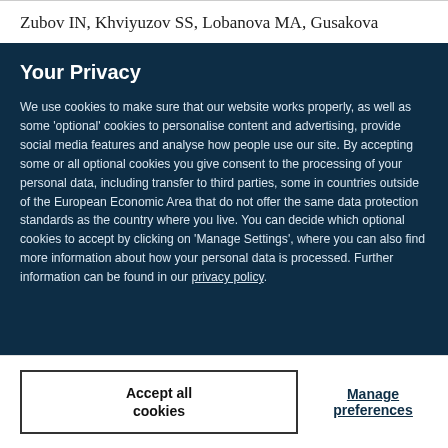Zubov IN, Khviyuzov SS, Lobanova MA, Gusakova
Your Privacy
We use cookies to make sure that our website works properly, as well as some ‘optional’ cookies to personalise content and advertising, provide social media features and analyse how people use our site. By accepting some or all optional cookies you give consent to the processing of your personal data, including transfer to third parties, some in countries outside of the European Economic Area that do not offer the same data protection standards as the country where you live. You can decide which optional cookies to accept by clicking on ‘Manage Settings’, where you can also find more information about how your personal data is processed. Further information can be found in our privacy policy.
Accept all cookies
Manage preferences